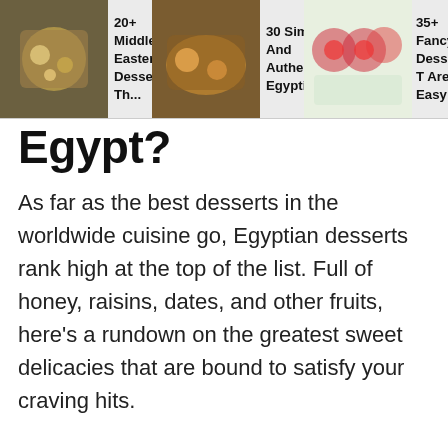[Figure (screenshot): Navigation bar with three recipe thumbnails and titles: '20+ Middle Eastern Desserts Th...', '30 Simple And Authentic Egyptian...', '35+ Fancy Desserts T Are Easy T']
Egypt?
As far as the best desserts in the worldwide cuisine go, Egyptian desserts rank high at the top of the list. Full of honey, raisins, dates, and other fruits, here's a rundown on the greatest sweet delicacies that are bound to satisfy your craving hits.
Delicious Egyptian Cakes & Pastries And Pies
Egypt is proud to produce some of the world's most iconic cakes, pastries, and pies. For those looking for a decadent and comforting dessert to satisfy your sweet tooth, here are your best bets.